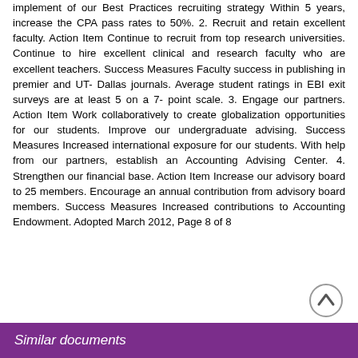implement of our Best Practices recruiting strategy Within 5 years, increase the CPA pass rates to 50%. 2. Recruit and retain excellent faculty. Action Item Continue to recruit from top research universities. Continue to hire excellent clinical and research faculty who are excellent teachers. Success Measures Faculty success in publishing in premier and UT- Dallas journals. Average student ratings in EBI exit surveys are at least 5 on a 7- point scale. 3. Engage our partners. Action Item Work collaboratively to create globalization opportunities for our students. Improve our undergraduate advising. Success Measures Increased international exposure for our students. With help from our partners, establish an Accounting Advising Center. 4. Strengthen our financial base. Action Item Increase our advisory board to 25 members. Encourage an annual contribution from advisory board members. Success Measures Increased contributions to Accounting Endowment. Adopted March 2012, Page 8 of 8
Similar documents